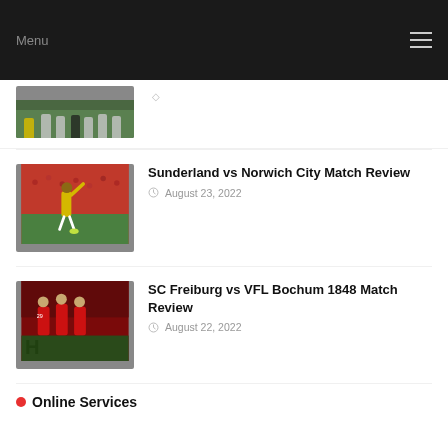Menu
[Figure (photo): Partial football match photo showing players on the pitch, partially cropped at top]
Sunderland vs Norwich City Match Review
August 23, 2022
[Figure (photo): Football match photo showing Norwich City player in yellow kit celebrating]
SC Freiburg vs VFL Bochum 1848 Match Review
August 22, 2022
[Figure (photo): Football match photo showing SC Freiburg players in red kit]
Online Services